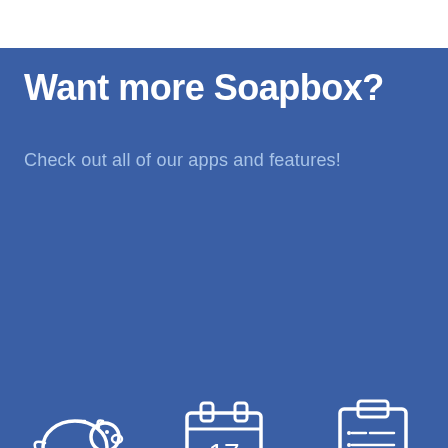Want more Soapbox?
Check out all of our apps and features!
[Figure (infographic): Six white line icons on blue background representing Donations (piggy bank), Events (calendar with 17), Forms (clipboard with checklist), and bottom row: a document/ID card, a handbag/tote, and a pen/pencil]
Donations  Events  Forms